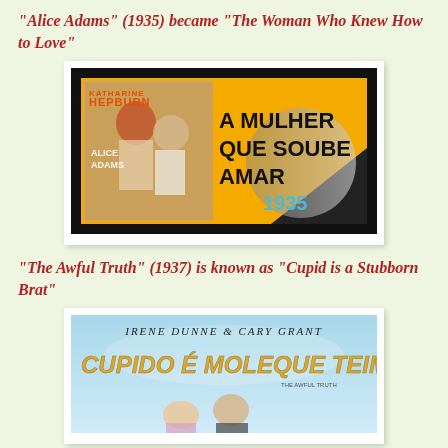“Alice Adams” (1935) became “The Woman Who Knew How to Love”
[Figure (photo): Movie poster for Alice Adams (1935) showing Brazilian release title 'A Mulher Que Soube Amar 1935' on a yellow background with black border, featuring Katharine Hepburn and movie artwork]
“The Awful Truth” (1937) is known as “Cupid is a Stubborn Brat”
[Figure (photo): Movie poster for The Awful Truth (1937) showing Brazilian release title 'Cupido É Moleque Teimoso' with Irene Dunne and Cary Grant]